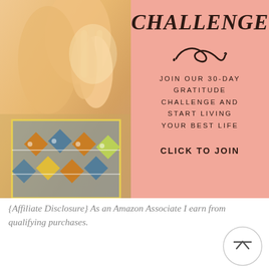[Figure (infographic): Promotional banner for a 30-day gratitude challenge. Left half shows a photo of a person with hands in prayer/meditation pose, wearing a colorful patterned garment. Right half is a salmon/pink background with bold italic 'CHALLENGE' heading, a decorative swirl, text 'JOIN OUR 30-DAY GRATITUDE CHALLENGE AND START LIVING YOUR BEST LIFE', and 'CLICK TO JOIN' call to action.]
{Affiliate Disclosure} As an Amazon Associate I earn from qualifying purchases.